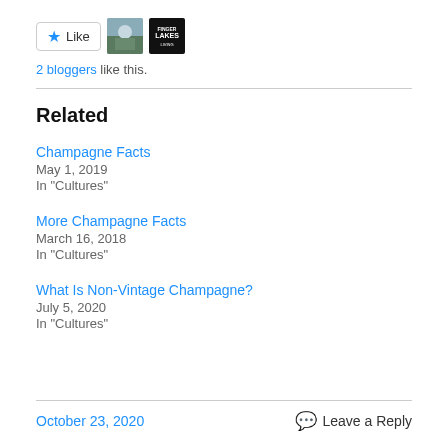[Figure (other): Like button with star icon, two blogger avatars (a nature photo thumbnail and a Finger Lakes logo)]
2 bloggers like this.
Related
Champagne Facts
May 1, 2019
In "Cultures"
More Champagne Facts
March 16, 2018
In "Cultures"
What Is Non-Vintage Champagne?
July 5, 2020
In "Cultures"
October 23, 2020   Leave a Reply